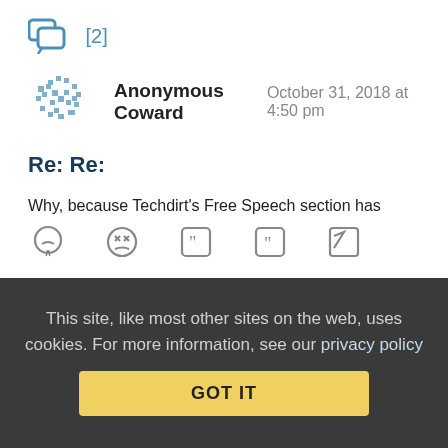[Figure (other): Chat/comment icon with count [2]]
Anonymous Coward   October 31, 2018 at 4:50 pm
Re: Re:
Why, because Techdirt's Free Speech section has gone another day without mentioning the Gab stomping, proving that there's a conspiracy of silence?
Collapse replies (9) | Reply | View in chronology
This site, like most other sites on the web, uses cookies. For more information, see our privacy policy
GOT IT